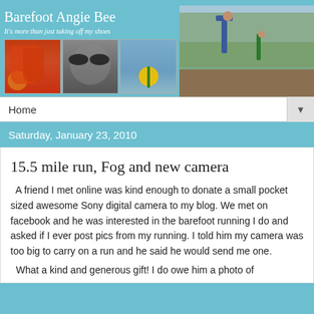[Figure (screenshot): Blog header banner showing 'Barefoot Angie Bee' with subtitle 'It's more than just taking off my shoes', three small photos (peppers, person with goggles, yellow flower in field), and a large outdoor photo of two people in yoga/warrior poses on a wooden deck surrounded by trees.]
Home ▼
Saturday, January 23, 2010
15.5 mile run, Fog and new camera
A friend I met online was kind enough to donate a small pocket sized awesome Sony digital camera to my blog. We met on facebook and he was interested in the barefoot running I do and asked if I ever post pics from my running. I told him my camera was too big to carry on a run and he said he would send me one.
What a kind and generous gift! I do owe him a photo of